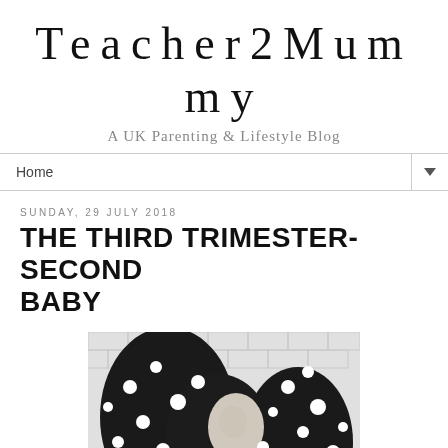Teacher2Mummy
A UK Parenting & Lifestyle Blog
Home
SUNDAY, 29 JULY 2018
THE THIRD TRIMESTER-SECOND BABY
[Figure (photo): Black and white photo of a pregnant woman in a polka dot dress, showing her belly, against a light brick wall background]